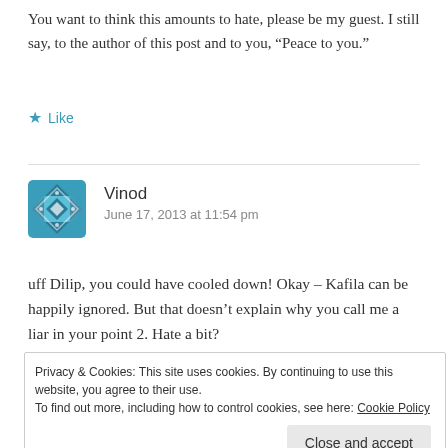You want to think this amounts to hate, please be my guest. I still say, to the author of this post and to you, “Peace to you.”
★ Like
[Figure (illustration): Teal geometric avatar icon for user Vinod]
Vinod
June 17, 2013 at 11:54 pm
uff Dilip, you could have cooled down! Okay – Kafila can be happily ignored. But that doesn’t explain why you call me a liar in your point 2. Hate a bit?
Privacy & Cookies: This site uses cookies. By continuing to use this website, you agree to their use.
To find out more, including how to control cookies, see here: Cookie Policy
Close and accept
which is completely against something that will happen in 2009